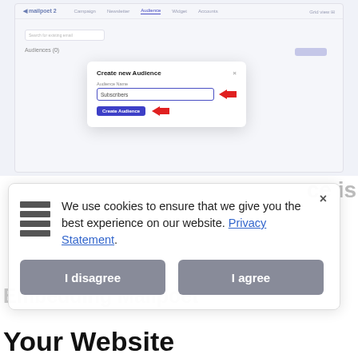[Figure (screenshot): Screenshot of a web application showing a 'Create new Audience' dialog with an input field containing 'Subscribers' and a blue 'Create Audience' button. Red arrows point to the input field and the button. A blurred navigation bar and 'Audiences (0)' label are visible in the background.]
[Figure (screenshot): Cookie consent overlay with a hamburger/lines icon on the left, text reading 'We use cookies to ensure that we give you the best experience on our website. Privacy Statement.' with a blue underlined link, an X close button top right, and two gray buttons labeled 'I disagree' and 'I agree'. Blurred background text is partially visible behind the overlay.]
We use cookies to ensure that we give you the best experience on our website. Privacy Statement.
Your Website